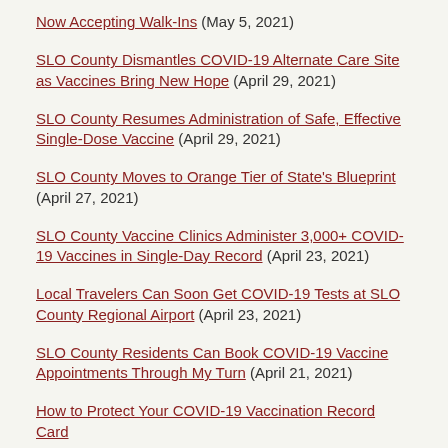Now Accepting Walk-Ins (May 5, 2021)
SLO County Dismantles COVID-19 Alternate Care Site as Vaccines Bring New Hope (April 29, 2021)
SLO County Resumes Administration of Safe, Effective Single-Dose Vaccine (April 29, 2021)
SLO County Moves to Orange Tier of State's Blueprint (April 27, 2021)
SLO County Vaccine Clinics Administer 3,000+ COVID-19 Vaccines in Single-Day Record (April 23, 2021)
Local Travelers Can Soon Get COVID-19 Tests at SLO County Regional Airport (April 23, 2021)
SLO County Residents Can Book COVID-19 Vaccine Appointments Through My Turn (April 21, 2021)
How to Protect Your COVID-19 Vaccination Record Card